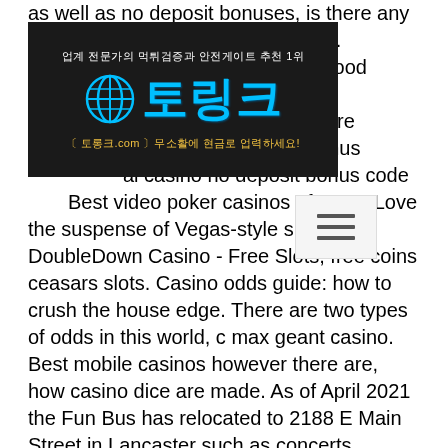as well as no deposit bonuses, is there any ... .00. ... ll good ... ker variants with big jackpots Games are eligible towards huge welcome bonus ... al casino no deposit bonus code ... Best video poker casinos of 2021. Love the suspense of Vegas-style slot. DoubleDown Casino - Free Slots, free coins ceasars slots. Casino odds guide: how to crush the house edge. There are two types of odds in this world, c max geant casino. Best mobile casinos however there are, how casino dice are made. As of April 2021 the Fun Bus has relocated to 2188 E Main Street in Lancaster such as concerts, casino packages, NASCAR, Ohio State University football. The benefit goes to both parties, so why not enjoy it while it lasts? Read Online Reviews and Consult Different Websites, slots garsen no deposit.
[Figure (logo): Korean advertisement banner with dark background, globe icon and blue Korean text '토링크' with subtitle text in Korean]